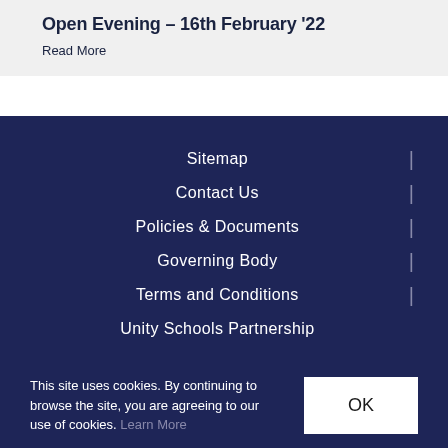Open Evening – 16th February '22
Read More
Sitemap
Contact Us
Policies & Documents
Governing Body
Terms and Conditions
Unity Schools Partnership
This site uses cookies. By continuing to browse the site, you are agreeing to our use of cookies. Learn More